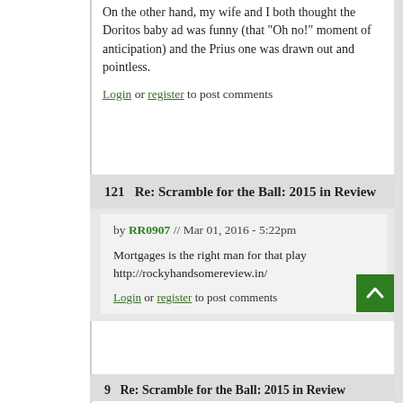On the other hand, my wife and I both thought the Doritos baby ad was funny (that "Oh no!" moment of anticipation) and the Prius one was drawn out and pointless.
Login or register to post comments
121   Re: Scramble for the Ball: 2015 in Review
by RR0907 // Mar 01, 2016 - 5:22pm
Mortgages is the right man for that play http://rockyhandsomereview.in/
Login or register to post comments
9   Re: Scramble for the Ball: 2015 in Review